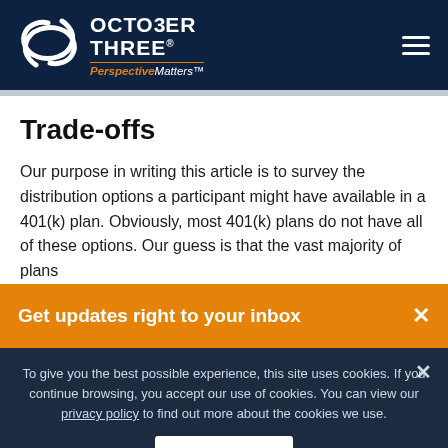October Three Perspective Matters
Trade-offs
Our purpose in writing this article is to survey the distribution options a participant might have available in a 401(k) plan. Obviously, most 401(k) plans do not have all of these options. Our guess is that the vast majority of plans
Get updates right to your inbox
To give you the best possible experience, this site uses cookies. If you continue browsing, you accept our use of cookies. You can view our privacy policy to find out more about the cookies we use.
ACCEPT